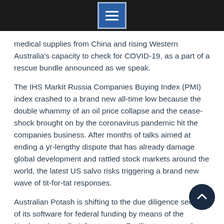[Figure (logo): Dark top navigation bar with a blue menu/hamburger icon in the center]
medical supplies from China and rising Western Australia's capacity to check for COVID-19, as a part of a rescue bundle announced as we speak.
The IHS Markit Russia Companies Buying Index (PMI) index crashed to a brand new all-time low because the double whammy of an oil price collapse and the cease-shock brought on by the coronavirus pandemic hit the companies business. After months of talks aimed at ending a yr-lengthy dispute that has already damage global development and rattled stock markets around the world, the latest US salvo risks triggering a brand new wave of tit-for-tat responses.
Australian Potash is shifting to the due diligence section of its software for federal funding by means of the Northern Australia Infrastructure Facility to support the DFS for its Lake Wells SOP fertilizer